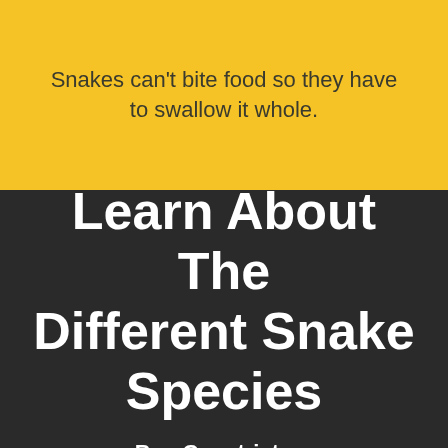Snakes can't bite food so they have to swallow it whole.
Learn About The Different Snake Species
Boa Constrictors